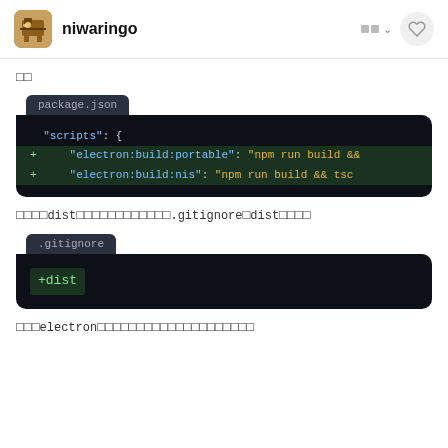niwaringo
□□
[Figure (screenshot): Code diff block labeled 'package.json' showing scripts section with two added lines: 'electron:build:portable': 'npm run build &&' and 'electron:build:nis': 'npm run build && tsc']
□□□□dist□□□□□□□□□□□□.gitignore□dist□□□□
[Figure (screenshot): Code diff block labeled '.gitignore' showing one added line: +dist]
□□□electron□□□□□□□□□□□□□□□□□□□□